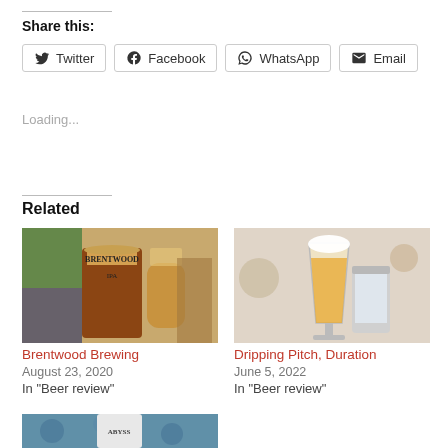Share this:
Twitter
Facebook
WhatsApp
Email
Loading...
Related
[Figure (photo): Brentwood IPA beer bottle and glass on a table]
Brentwood Brewing
August 23, 2020
In "Beer review"
[Figure (photo): Dripping Pitch Duration beer glass and can on a table]
Dripping Pitch, Duration
June 5, 2022
In "Beer review"
[Figure (photo): Abyss beer can with octopus design background]